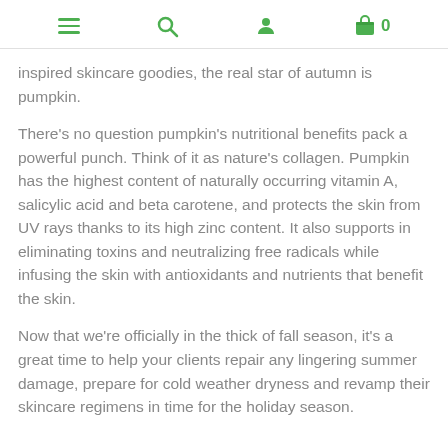Navigation icons: menu, search, account, cart (0)
inspired skincare goodies, the real star of autumn is pumpkin.
There’s no question pumpkin’s nutritional benefits pack a powerful punch. Think of it as nature’s collagen. Pumpkin has the highest content of naturally occurring vitamin A, salicylic acid and beta carotene, and protects the skin from UV rays thanks to its high zinc content. It also supports in eliminating toxins and neutralizing free radicals while infusing the skin with antioxidants and nutrients that benefit the skin.
Now that we’re officially in the thick of fall season, it’s a great time to help your clients repair any lingering summer damage, prepare for cold weather dryness and revamp their skincare regimens in time for the holiday season.